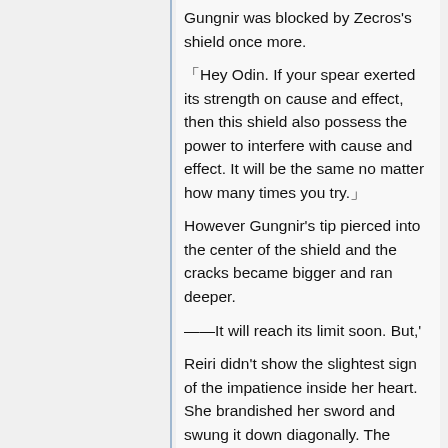Gungnir was blocked by Zecros's shield once more.
「Hey Odin. If your spear exerted its strength on cause and effect, then this shield also possess the power to interfere with cause and effect. It will be the same no matter how many times you try.」
However Gungnir’s tip pierced into the center of the shield and the cracks became bigger and ran deeper.
——It will reach its limit soon. But,’
Reiri didn't show the slightest sign of the impatience inside her heart. She brandished her sword and swung it down diagonally. The sword's blade smashed apart the remaining Gungnir.
「——!!」